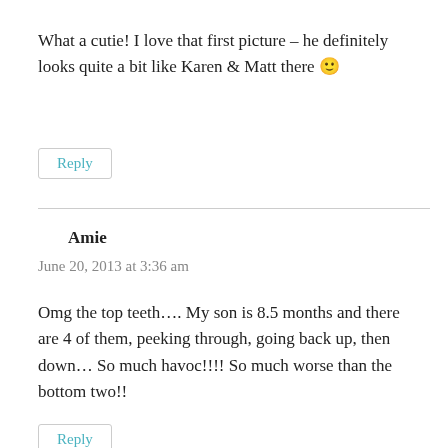What a cutie! I love that first picture – he definitely looks quite a bit like Karen & Matt there 🙂
Reply
Amie
June 20, 2013 at 3:36 am
Omg the top teeth…. My son is 8.5 months and there are 4 of them, peeking through, going back up, then down… So much havoc!!!! So much worse than the bottom two!!
Reply